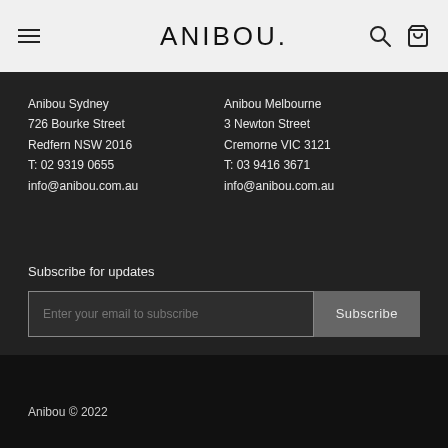ANIBOU.
Anibou Sydney
726 Bourke Street
Redfern NSW 2016
T: 02 9319 0655
info@anibou.com.au
Anibou Melbourne
3 Newton Street
Cremorne VIC 3121
T: 03 9416 3671
info@anibou.com.au
Subscribe for updates
Enter your email to subscribe
Subscribe
Anibou © 2022